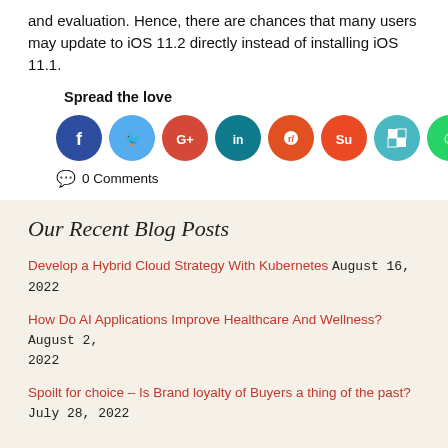and evaluation. Hence, there are chances that many users may update to iOS 11.2 directly instead of installing iOS 11.1.
Spread the love
[Figure (infographic): Social sharing icons: Facebook (dark blue), Twitter (light blue), Google+ (red-orange), LinkedIn (teal), Reddit (orange-red), StumbleUpon (orange-red), ShareThis (teal/white), WhatsApp (green). Shows 0 Shares count.]
0 Comments
Our Recent Blog Posts
Develop a Hybrid Cloud Strategy With Kubernetes August 16, 2022
How Do AI Applications Improve Healthcare And Wellness? August 2, 2022
Spoilt for choice – Is Brand loyalty of Buyers a thing of the past? July 28, 2022